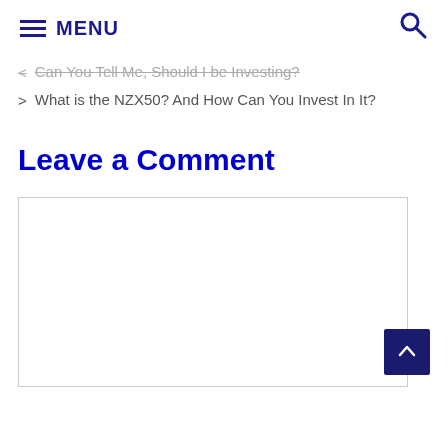≡ MENU 🔍
< Can You Tell Me, Should I be Investing?
> What is the NZX50? And How Can You Invest In It?
Leave a Comment
[Figure (screenshot): Empty comment text area input box with light gray border]